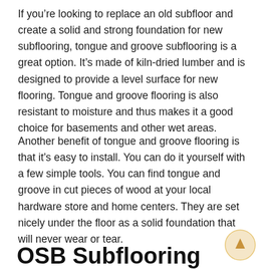If you’re looking to replace an old subfloor and create a solid and strong foundation for new subflooring, tongue and groove subflooring is a great option. It’s made of kiln-dried lumber and is designed to provide a level surface for new flooring. Tongue and groove flooring is also resistant to moisture and thus makes it a good choice for basements and other wet areas.
Another benefit of tongue and groove flooring is that it’s easy to install. You can do it yourself with a few simple tools. You can find tongue and groove in cut pieces of wood at your local hardware store and home centers. They are set nicely under the floor as a solid foundation that will never wear or tear.
OSB Subflooring